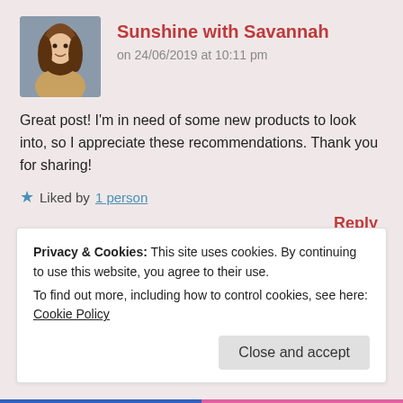Sunshine with Savannah
on 24/06/2019 at 10:11 pm
Great post! I'm in need of some new products to look into, so I appreciate these recommendations. Thank you for sharing!
★ Liked by 1 person
Reply
Leave a Reply
Your email address will not be published. Required fields are
Privacy & Cookies: This site uses cookies. By continuing to use this website, you agree to their use.
To find out more, including how to control cookies, see here: Cookie Policy
Close and accept